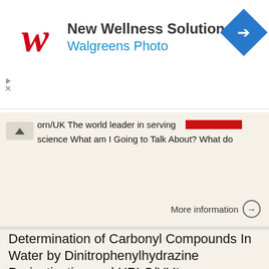[Figure (logo): Walgreens New Wellness Solutions advertisement banner with Walgreens cursive logo, navigation diamond icon]
orn/UK The world leader in serving science What am I Going to Talk About? What do
More information →
Determination of Carbonyl Compounds In Water by Dinitrophenylhydrazine Derivatization and HPLC/UV*
Determination of Carbonyl Compounds In Water by Dinitrophenylhydrazine Derivatization and HPLC/UV* EPA Method 8315A UCT Part Number: EUC1812M15 (Unendcapped C18-2000 mg/15 ml cartridge) March 2013 Method
More information →